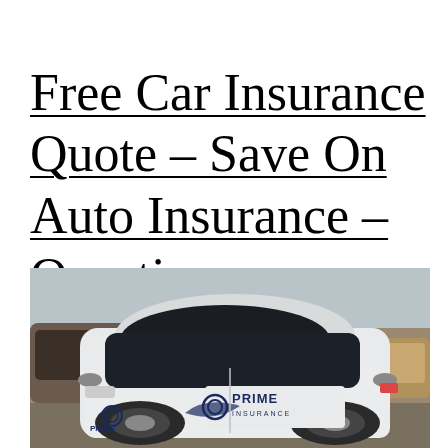Free Car Insurance Quote – Save On Auto Insurance – Questions
[Figure (photo): A white Smart car branded with 'PRIME Insurance' logo and graphics parked in a lot, with other vehicles visible in the background.]